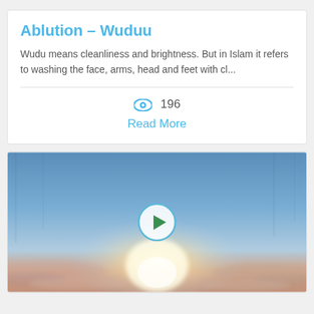Ablution – Wuduu
Wudu means cleanliness and brightness. But in Islam it refers to washing the face, arms, head and feet with cl...
196
Read More
[Figure (photo): A scenic sky photo with clouds and a bright glowing sun/light at the horizon, with a blue circular play button overlay in the center for a video]